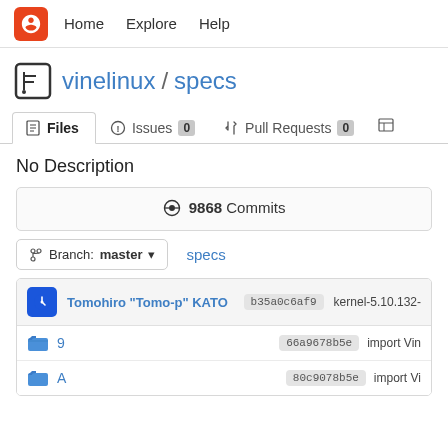Home   Explore   Help
vinelinux / specs
Files   Issues 0   Pull Requests 0
No Description
9868 Commits
Branch: master   specs
| Author | Hash | Message |
| --- | --- | --- |
| Tomohiro "Tomo-p" KATO | b35a0c6af9 | kernel-5.10.132- |
| 9 | 66a9678b5e | import Vin |
| A | 80c9078b5e | import Vi |